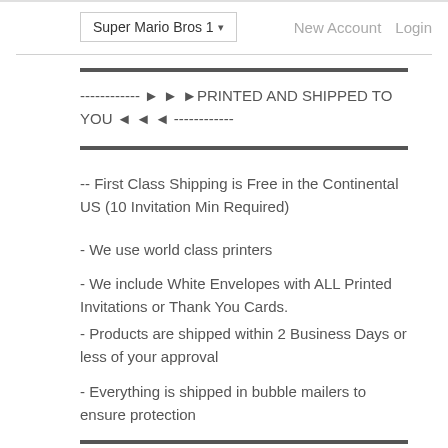Super Mario Bros 1▼   New Account   Login
------------ ► ► ►PRINTED AND SHIPPED TO YOU ◄ ◄ ◄ ------------
-- First Class Shipping is Free in the Continental US (10 Invitation Min Required)
- We use world class printers
- We include White Envelopes with ALL Printed Invitations or Thank You Cards.
- Products are shipped within 2 Business Days or less of your approval
- Everything is shipped in bubble mailers to ensure protection